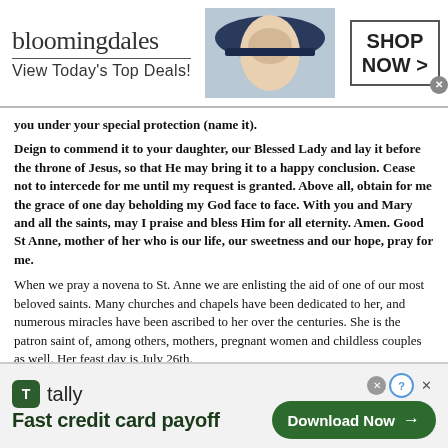[Figure (screenshot): Bloomingdale's advertisement banner: logo text 'bloomingdales', tagline 'View Today's Top Deals!', image of woman in wide-brim hat, and 'SHOP NOW >' button in a box]
you under your special protection (name it).
Deign to commend it to your daughter, our Blessed Lady and lay it before the throne of Jesus, so that He may bring it to a happy conclusion. Cease not to intercede for me until my request is granted. Above all, obtain for me the grace of one day beholding my God face to face. With you and Mary and all the saints, may I praise and bless Him for all eternity. Amen. Good St Anne, mother of her who is our life, our sweetness and our hope, pray for me.
When we pray a novena to St. Anne we are enlisting the aid of one of our most beloved saints. Many churches and chapels have been dedicated to her, and numerous miracles have been ascribed to her over the centuries. She is the patron saint of, among others, mothers, pregnant women and childless couples as well. Her feast day is July 26th.
[Figure (screenshot): Tally advertisement banner: Tally logo with green icon, tagline 'Fast credit card payoff', and green 'Download Now >' button]